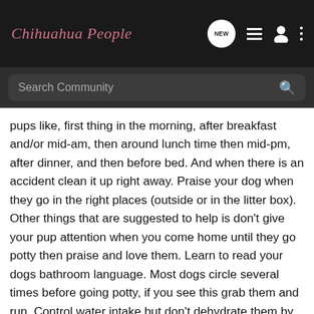Chihuahua People
[Figure (screenshot): Navigation bar with Chihuahua People logo, chat bubble with NEW label, list icon, person icon, and three-dot menu icon on dark background]
[Figure (screenshot): Search bar with placeholder text 'Search Community' and search icon on dark grey background]
pups like, first thing in the morning, after breakfast and/or mid-am, then around lunch time then mid-pm, after dinner, and then before bed. And when there is an accident clean it up right away. Praise your dog when they go in the right places (outside or in the litter box). Other things that are suggested to help is don't give your pup attention when you come home until they go potty then praise and love them. Learn to read your dogs bathroom language. Most dogs circle several times before going potty, if you see this grab them and run. Control water intake but don't dehydrate them by controlling it to much. Crate your dog when you leave even if it is for 1 min. Keep your dog on a lead until they are reliably housebroken that way they can't just run behind the couch and go potty. I know that one may be a little harder since your dogs hate the leash but these are the suggestions that the book gave. I hope that they will help. I will